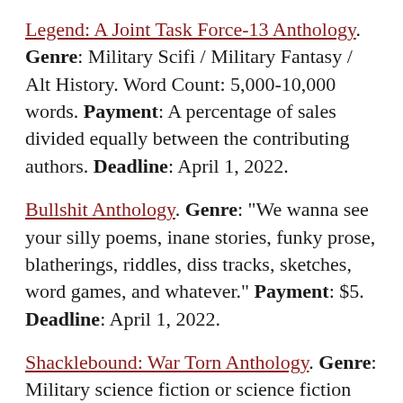Legend: A Joint Task Force-13 Anthology. Genre: Military Scifi / Military Fantasy / Alt History. Word Count: 5,000-10,000 words. Payment: A percentage of sales divided equally between the contributing authors. Deadline: April 1, 2022.
Bullshit Anthology. Genre: "We wanna see your silly poems, inane stories, funky prose, blatherings, riddles, diss tracks, sketches, word games, and whatever." Payment: $5. Deadline: April 1, 2022.
Shacklebound: War Torn Anthology. Genre: Military science fiction or science fiction stories that feature war in a big way. All accepted stories will have strong internal and external conflicts. Payment: $... Deadline: April...